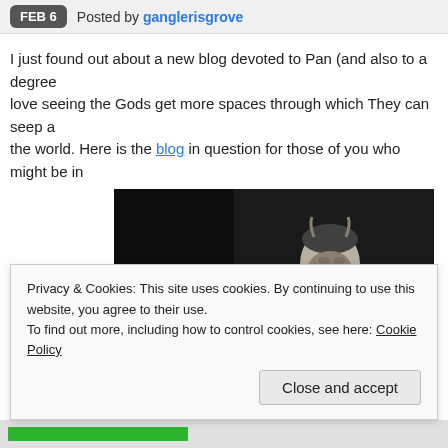FEB 6 Posted by ganglerisgrove
I just found out about a new blog devoted to Pan (and also to a degree love seeing the Gods get more spaces through which They can seep a the world. Here is the blog in question for those of you who might be in
[Figure (photo): Black and white photograph of a classical Greek/Roman statue depicting Pan, a bearded god holding pan pipes, shown from the waist up against a dark background.]
Privacy & Cookies: This site uses cookies. By continuing to use this website, you agree to their use.
To find out more, including how to control cookies, see here: Cookie Policy
Close and accept